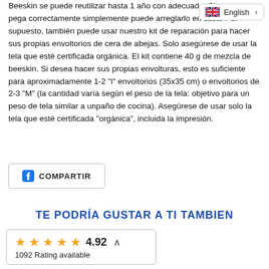Beeskin se puede reutilizar hasta 1 año con adecuado. Si ya no se pega correctamente simplemente puede arreglarlo en casa. Por supuesto, también puede usar nuestro kit de reparación para hacer sus propias envoltorios de cera de abejas. Solo asegúrese de usar la tela que esté certificada orgánica. El kit contiene 40 g de mezcla de beeskin. Si desea hacer sus propias envolturas, esto es suficiente para aproximadamente 1-2 "l" envoltorios (35x35 cm) o envoltorios de 2-3 "M" (la cantidad varía según el peso de la tela: objetivo para un peso de tela similar a unpaño de cocina). Asegúrese de usar solo la tela que esté certificada "orgánica", incluida la impresión.
[Figure (other): Language selector badge showing UK flag and 'English' with a right arrow]
[Figure (other): Facebook share button with Facebook icon and 'COMPARTIR' label]
TE PODRÍA GUSTAR A TI TAMBIEN
[Figure (other): Rating box showing 5 gold stars, score 4.92, caret up icon, and '1092 Rating available']